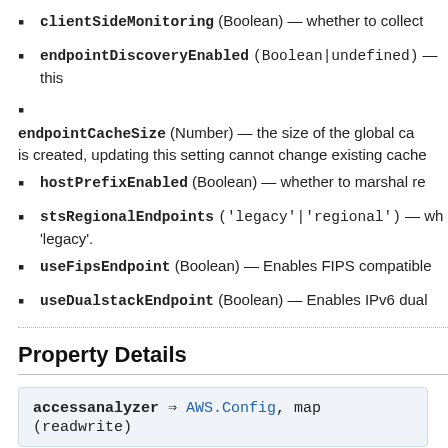clientSideMonitoring (Boolean) — whether to collect
endpointDiscoveryEnabled (Boolean|undefined) — this
endpointCacheSize (Number) — the size of the global ca is created, updating this setting cannot change existing cache
hostPrefixEnabled (Boolean) — whether to marshal re
stsRegionalEndpoints ('legacy'|'regional') — wh 'legacy'.
useFipsEndpoint (Boolean) — Enables FIPS compatible
useDualstackEndpoint (Boolean) — Enables IPv6 dual
Property Details
accessanalyzer ⇒ AWS.Config, map (readwrite)
Returns Service-specific configuration options for AWS.AccessA